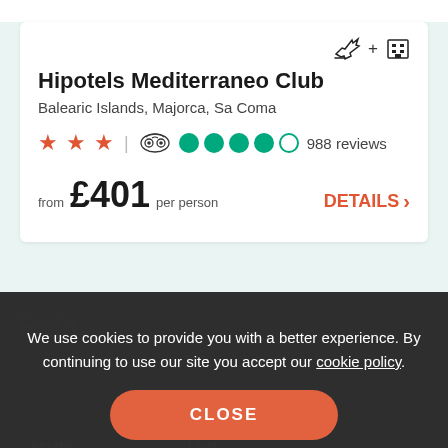Hipotels Mediterraneo Club
Balearic Islands, Majorca, Sa Coma
★★★ | TripAdvisor ●●●●○ 988 reviews
from £401 per person
DETAILS >
We use cookies to provide you with a better experience. By continuing to use our site you accept our cookie policy.
CLOSE
Related Destinations
Alcudia ... Avg